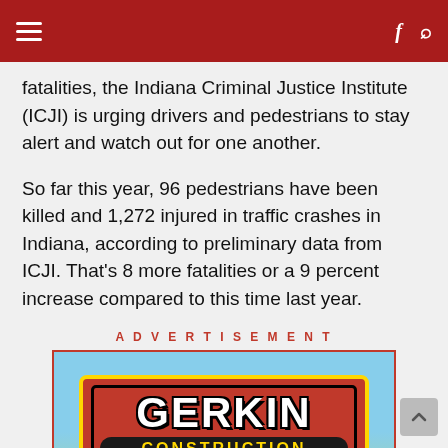fatalities, the Indiana Criminal Justice Institute (ICJI) is urging drivers and pedestrians to stay alert and watch out for one another.
So far this year, 96 pedestrians have been killed and 1,272 injured in traffic crashes in Indiana, according to preliminary data from ICJI. That's 8 more fatalities or a 9 percent increase compared to this time last year.
ADVERTISEMENT
[Figure (photo): Gerkin Construction advertisement showing a red sign with white bold text reading GERKIN, a black rounded bar reading CONSTRUCTION in yellow letters, and phone number 812 583-1318 in yellow, set against a blue sky with trees background.]